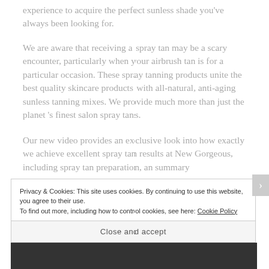experience to acquire the perfect sunless shade you've always been looking for.
We are aware that receiving a spray tan may be a scary encounter, particularly when your airbrush tan is for a particular occasion. These spray tanning products unite the best quality skincare products with all-natural, anti-aging sunless tanning mixes. We provide much more than just the planet 's finest salon spray tans.
Our new video provides an exclusive look into how exactly we achieve excellent spray tan results at New Gorgeous, including spray tan preparation, an summary of…
Privacy & Cookies: This site uses cookies. By continuing to use this website, you agree to their use.
To find out more, including how to control cookies, see here: Cookie Policy
Close and accept